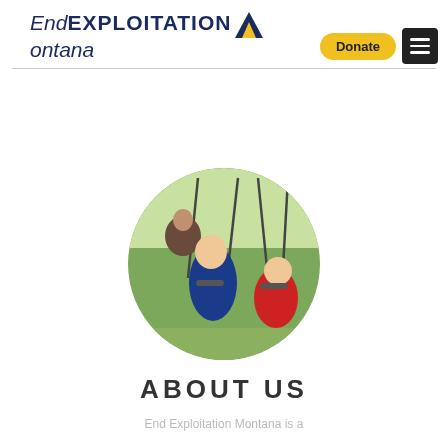[Figure (logo): End Exploitation Montana logo with mountain graphic, yellow Donate button, and dark hamburger menu icon]
[Figure (photo): Circular cropped photo of children playing on swings outdoors, one child in blue shirt and one in red shirt, with an adult]
ABOUT US
End Exploitation Montana is a...